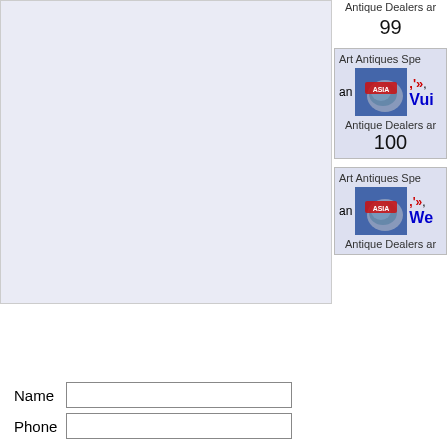[Figure (screenshot): Left panel with light blue/lavender background, partially visible content area]
Antique Dealers ar
99
Art Antiques Spe
an
[Figure (map): Asia map thumbnail with red ASIA label]
»,  Vui
Antique Dealers ar
100
Art Antiques Spe
an
[Figure (map): Asia map thumbnail with red ASIA label]
»,  We
Antique Dealers ar
Name
Phone